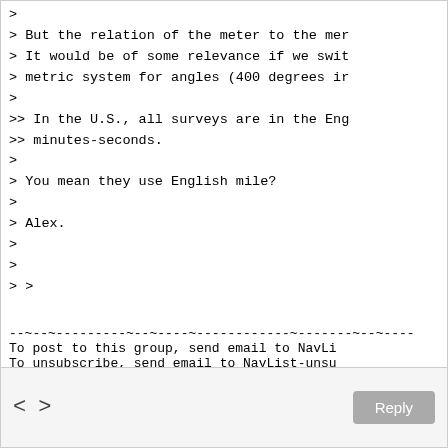> But the relation of the meter to the mer
> It would be of some relevance if we swit
> metric system for angles (400 degrees ir
>
>> In the U.S., all surveys are in the Eng
>> minutes-seconds.
>
> You mean they use English mile?
>
> Alex.
>
>
> >
--~--~---------~--~----~------------~-------~--~----
To post to this group, send email to NavLi
To unsubscribe, send email to NavList-unsu
-~----------~----~----~----~------~----~------~--~---
< >   Reply